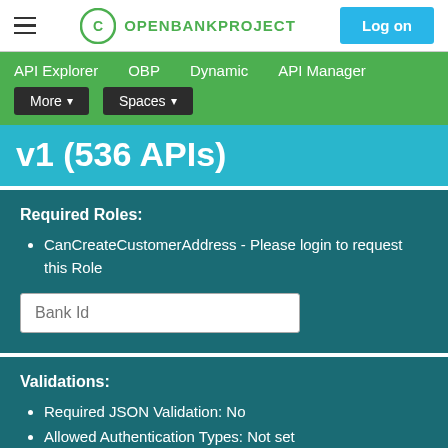Open Bank Project — Log on
API Explorer  OBP  Dynamic  API Manager  More  Spaces
v1 (536 APIs)
Required Roles:
CanCreateCustomerAddress - Please login to request this Role
Bank Id
Validations:
Required JSON Validation: No
Allowed Authentication Types: Not set